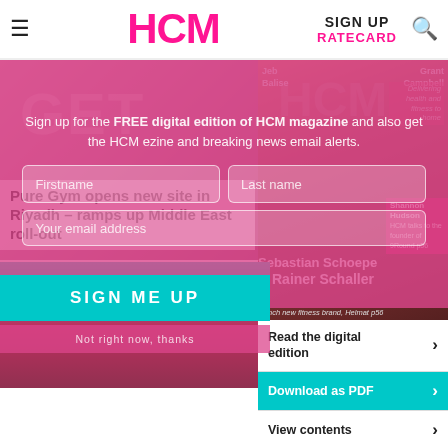HCM  SIGN UP  RATECARD
Pure Gym opens new site in Riyadh – ramps up Middle East roll-out
[Figure (screenshot): HCM magazine website screenshot showing nav bar with HCM logo in pink, SIGN UP and RATECARD links, article headline about Pure Gym, a semi-transparent pink sign-up overlay with form fields (Firstname, Last name, Your email address), a SIGN ME UP button in cyan, magazine cover showing Sebastian Schoepe & Rainer Schaller launching Helmat fitness brand, and right-side links: Read the digital edition, Download as PDF, View contents, Print subscription]
Sign up for the FREE digital edition of HCM magazine and also get the HCM ezine and breaking news email alerts.
Firstname
Last name
Your email address
SIGN ME UP
Not right now, thanks
Read the digital edition
Download as PDF
View contents
Print subscription